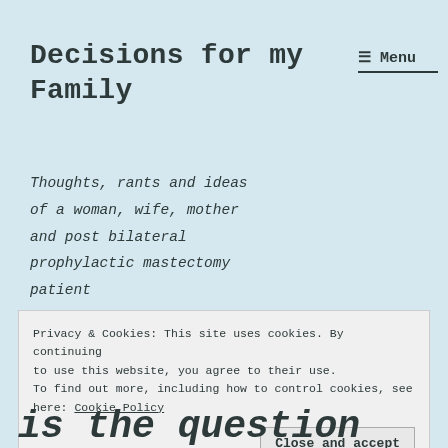Decisions for my Family
≡ Menu
Thoughts, rants and ideas of a woman, wife, mother and post bilateral prophylactic mastectomy patient
Privacy & Cookies: This site uses cookies. By continuing to use this website, you agree to their use. To find out more, including how to control cookies, see here: Cookie Policy
Close and accept
is the question